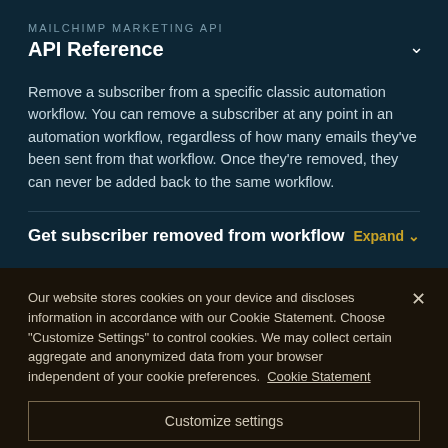MAILCHIMP MARKETING API
API Reference
Remove a subscriber from a specific classic automation workflow. You can remove a subscriber at any point in an automation workflow, regardless of how many emails they've been sent from that workflow. Once they're removed, they can never be added back to the same workflow.
Get subscriber removed from workflow
Our website stores cookies on your device and discloses information in accordance with our Cookie Statement. Choose "Customize Settings" to control cookies. We may collect certain aggregate and anonymized data from your browser independent of your cookie preferences. Cookie Statement
Customize settings